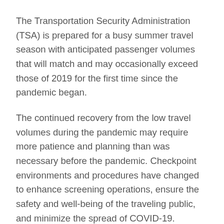The Transportation Security Administration (TSA) is prepared for a busy summer travel season with anticipated passenger volumes that will match and may occasionally exceed those of 2019 for the first time since the pandemic began.
The continued recovery from the low travel volumes during the pandemic may require more patience and planning than was necessary before the pandemic. Checkpoint environments and procedures have changed to enhance screening operations, ensure the safety and well-being of the traveling public, and minimize the spread of COVID-19.
"Daily passenger volumes at TSA checkpoints show that people are traveling again, and TSA is ready for their return. Our airport security checkpoints include 47,500